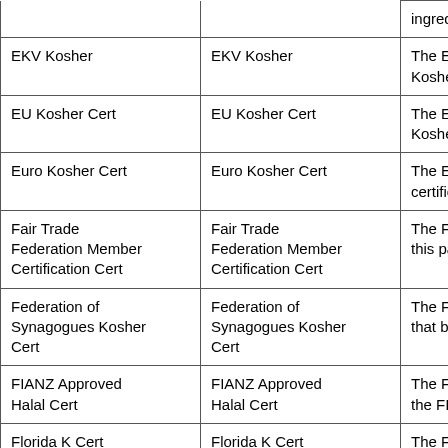| Name | Alias | Description |
| --- | --- | --- |
| EKV Kosher | EKV Kosher | The EKV Kosher Cert... Kosher Cert logo. |
| EU Kosher Cert | EU Kosher Cert | The EU Kosher Cert... Kosher Cert. |
| Euro Kosher Cert | Euro Kosher Cert | The Euro Kosher Ce... certification is prese... |
| Fair Trade Federation Member Certification Cert | Fair Trade Federation Member Certification Cert | The Fair Trade Fede... this particular logo c... |
| Federation of Synagogues Kosher Cert | Federation of Synagogues Kosher Cert | The Federation of Sy... that bear the Feder... |
| FIANZ Approved Halal Cert | FIANZ Approved Halal Cert | The FIANZ Approve... the FIANZ Approved... |
| Florida K Cert | Florida K Cert | The Florida K Cert a... Cert logo. |
| Global Consulting LLC Kosher | Global Consulting LLC Kosher | The Global Consultin... this particular logo... |